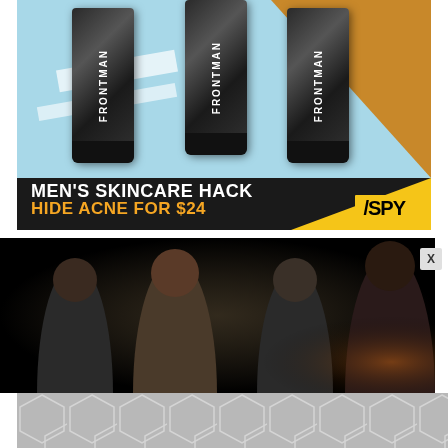[Figure (illustration): Advertisement banner for FRONTMAN skincare product showing three dark tubes/dispensers with 'FRONTMAN' branding on a blue and gold geometric background, with text 'MEN'S SKINCARE HACK / HIDE ACNE FOR $24' and SPY logo]
[Figure (photo): Dark scene showing four people (three women and one man) in what appears to be an outdoor nighttime setting]
[Figure (illustration): Gray hexagonal geometric pattern at bottom of page]